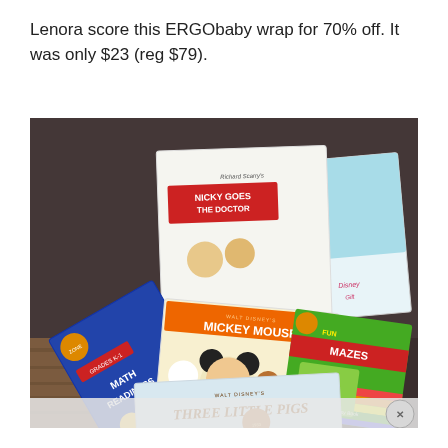Lenora score this ERGObaby wrap for 70% off. It was only $23 (reg $79).
[Figure (photo): A photo of several children's books laid out on a wooden floor and dark carpet: 'Richard Scarry's Nicky Goes to the Doctor', 'Math Readiness' (School Zone, Grades K-1), 'Mickey Mouse' (Walt Disney), 'Three Little Pigs' (Walt Disney), 'Fun with Mazes' (Little Busy Book), and a Disney princess book.]